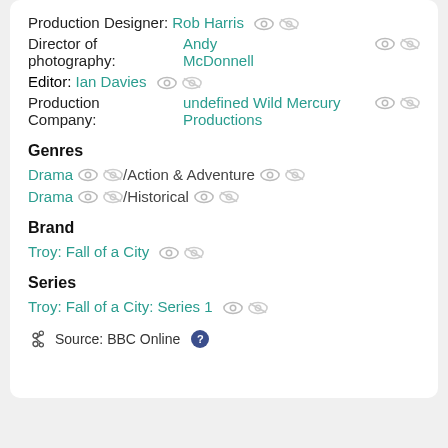Production Designer: Rob Harris
Director of photography: Andy McDonnell
Editor: Ian Davies
Production Company: undefined Wild Mercury Productions
Genres
Drama / Action & Adventure
Drama / Historical
Brand
Troy: Fall of a City
Series
Troy: Fall of a City: Series 1
Source: BBC Online